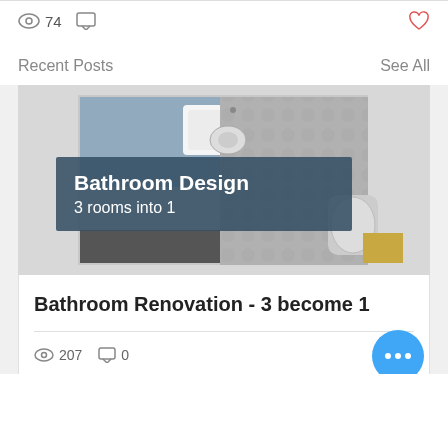74 views, 0 comments, heart icon
Recent Posts | See All
[Figure (photo): Top-down floor plan of a bathroom renovation showing three rooms merged into one, with a teal overlay label reading 'Bathroom Design 3 rooms into 1']
Bathroom Renovation - 3 become 1
207 views, 0 comments, heart icon, more options button